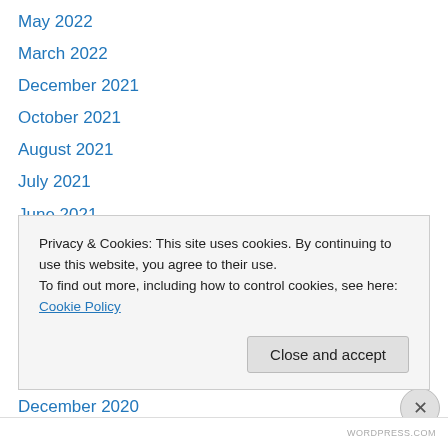May 2022
March 2022
December 2021
October 2021
August 2021
July 2021
June 2021
May 2021
April 2021
March 2021
February 2021
January 2021
December 2020
Privacy & Cookies: This site uses cookies. By continuing to use this website, you agree to their use.
To find out more, including how to control cookies, see here: Cookie Policy
Close and accept